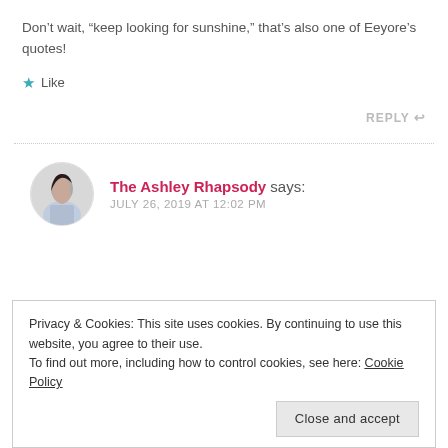Don't wait, “keep looking for sunshine,” that’s also one of Eeyore’s quotes!
★ Like
REPLY ↩
The Ashley Rhapsody says: JULY 26, 2019 AT 12:02 PM
Privacy & Cookies: This site uses cookies. By continuing to use this website, you agree to their use.
To find out more, including how to control cookies, see here: Cookie Policy
Close and accept